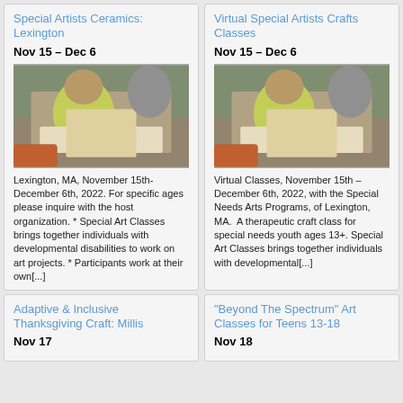Special Artists Ceramics: Lexington
Nov 15 – Dec 6
[Figure (photo): Person in yellow shirt working on art at a table]
Lexington, MA, November 15th-December 6th, 2022. For specific ages please inquire with the host organization. * Special Art Classes brings together individuals with developmental disabilities to work on art projects. * Participants work at their own[...]
Virtual Special Artists Crafts Classes
Nov 15 – Dec 6
[Figure (photo): Person in yellow shirt working on art at a table]
Virtual Classes, November 15th – December 6th, 2022, with the Special Needs Arts Programs, of Lexington, MA. A therapeutic craft class for special needs youth ages 13+. Special Art Classes brings together individuals with developmental[...]
Adaptive & Inclusive Thanksgiving Craft: Millis
Nov 17
“Beyond The Spectrum” Art Classes for Teens 13-18
Nov 18